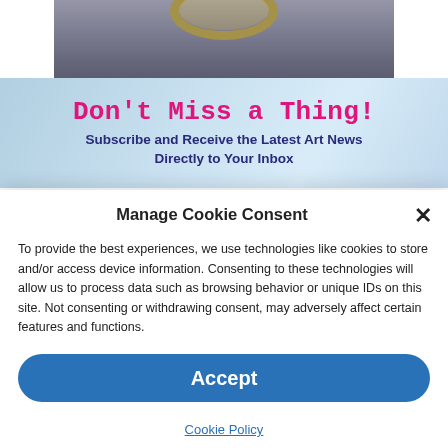[Figure (photo): Close-up photo of artwork or jewelry - dark textured fabric/material with a gold ring at the top]
[Figure (infographic): Newsletter subscription banner with blue bubble/water drop background. Headline in pink monospace font: Don't Miss a Thing! Subtext in dark blue bold: Subscribe and Receive the Latest Art News Directly to Your Inbox]
Manage Cookie Consent
To provide the best experiences, we use technologies like cookies to store and/or access device information. Consenting to these technologies will allow us to process data such as browsing behavior or unique IDs on this site. Not consenting or withdrawing consent, may adversely affect certain features and functions.
Accept
Cookie Policy